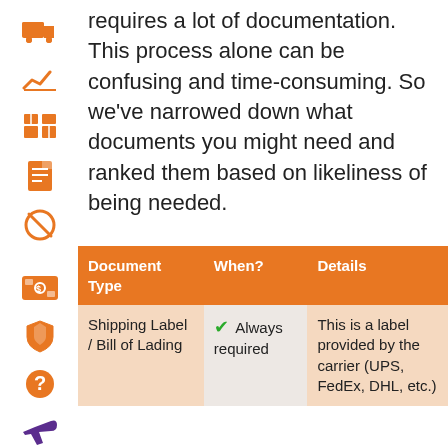requires a lot of documentation. This process alone can be confusing and time-consuming. So we've narrowed down what documents you might need and ranked them based on likeliness of being needed.
| Document Type | When? | Details |
| --- | --- | --- |
| Shipping Label / Bill of Lading | ✓ Always required | This is a label provided by the carrier (UPS, FedEx, DHL, etc.) |